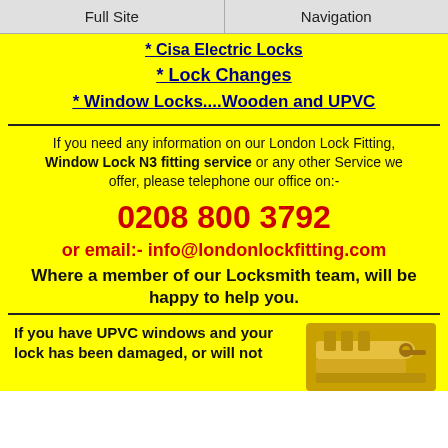Full Site | Navigation
* Cisa Electric Locks
*  Lock Changes
*  Window Locks....Wooden and UPVC
If you need any information on our London Lock Fitting, Window Lock N3 fitting service or any other Service we offer, please telephone our office on:-
0208 800 3792
or email:- info@londonlockfitting.com
Where a member of our Locksmith team, will be happy to help you.
If you have UPVC windows and your lock has been damaged, or will not
[Figure (photo): Photo of a gold/brass door lock or lock mechanism]